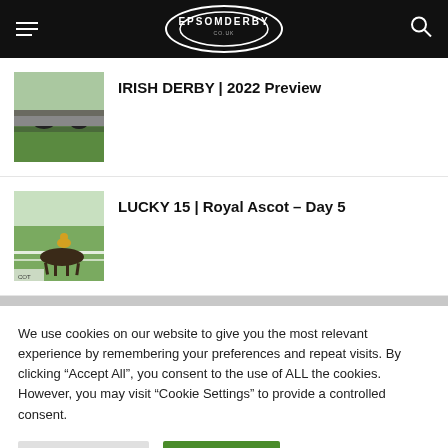EPSOM DERBY
[Figure (photo): Horse race with crowd in background, Irish Derby preview thumbnail]
IRISH DERBY | 2022 Preview
[Figure (photo): Jockey on horse racing at Royal Ascot, Lucky 15 Day 5 thumbnail]
LUCKY 15 | Royal Ascot – Day 5
We use cookies on our website to give you the most relevant experience by remembering your preferences and repeat visits. By clicking "Accept All", you consent to the use of ALL the cookies. However, you may visit "Cookie Settings" to provide a controlled consent.